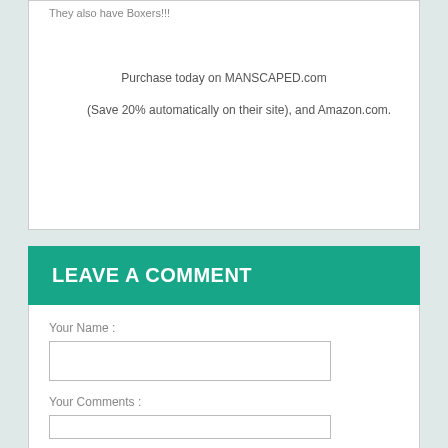They also have Boxers!!!
Purchase today on MANSCAPED.com
(Save 20% automatically on their site), and Amazon.com.
LEAVE A COMMENT
Your Name :
Your Comments :